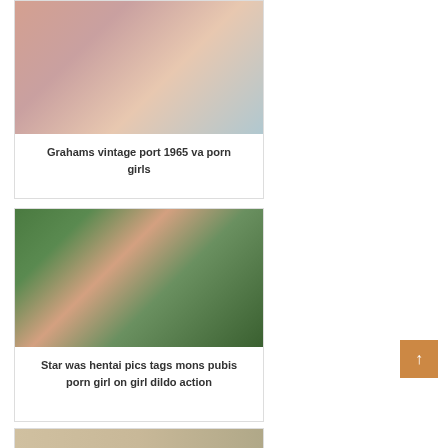[Figure (photo): Woman lying on bed in explicit pose]
Grahams vintage port 1965 va porn girls
[Figure (photo): Woman posing outdoors near palm trees topless in bikini bottom]
Star was hentai pics tags mons pubis porn girl on girl dildo action
[Figure (photo): Partial photo at bottom of page]